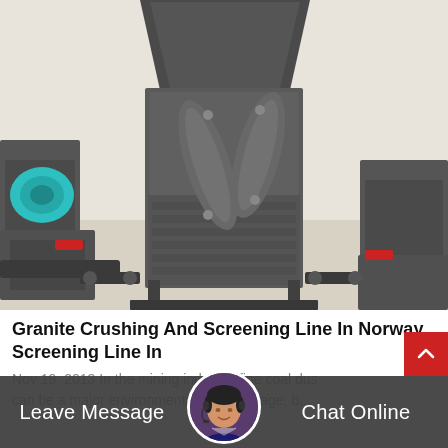[Figure (photo): Industrial granite crushing and screening machine photographed outdoors. The machine is painted dark grey/charcoal, featuring a large hopper on top, twin elliptical crushing rollers in the center, and a ribbed body. A teal/green electric motor is visible on the left side. Additional machinery visible in the background.]
Granite Crushing And Screening Line In Norway Screening Line In
Nov 19, 2013 In the mining industry, fine coal dust can be a major environmental disadvantage, b...
[Figure (photo): Customer service representative avatar: woman wearing a headset, circular photo used as chat widget icon.]
Leave Message
Chat Online